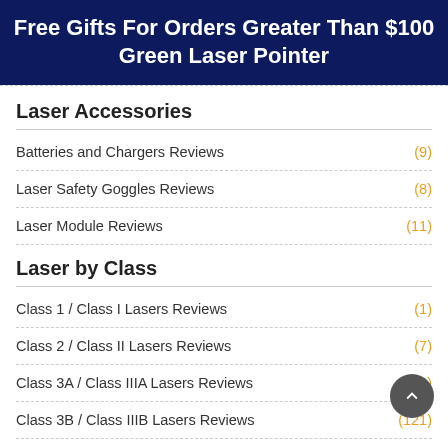Free Gifts For Orders Greater Than $100 Green Laser Pointer
Laser Accessories
Batteries and Chargers Reviews (9)
Laser Safety Goggles Reviews (8)
Laser Module Reviews (11)
Laser by Class
Class 1 / Class I Lasers Reviews (1)
Class 2 / Class II Lasers Reviews (7)
Class 3A / Class IIIA Lasers Reviews (24)
Class 3B / Class IIIB Lasers Reviews (121)